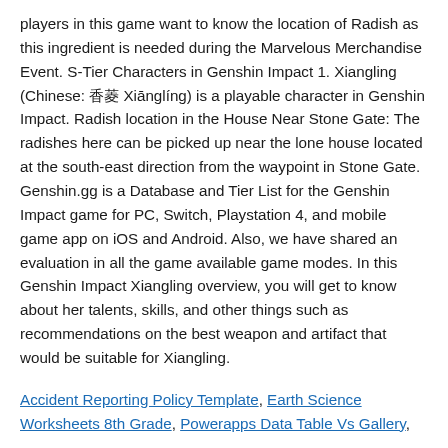players in this game want to know the location of Radish as this ingredient is needed during the Marvelous Merchandise Event. S-Tier Characters in Genshin Impact 1. Xiangling (Chinese: 香菱 Xiānglíng) is a playable character in Genshin Impact. Radish location in the House Near Stone Gate: The radishes here can be picked up near the lone house located at the south-east direction from the waypoint in Stone Gate. Genshin.gg is a Database and Tier List for the Genshin Impact game for PC, Switch, Playstation 4, and mobile game app on iOS and Android. Also, we have shared an evaluation in all the game available game modes. In this Genshin Impact Xiangling overview, you will get to know about her talents, skills, and other things such as recommendations on the best weapon and artifact that would be suitable for Xiangling.
Accident Reporting Policy Template, Earth Science Worksheets 8th Grade, Powerapps Data Table Vs Gallery,